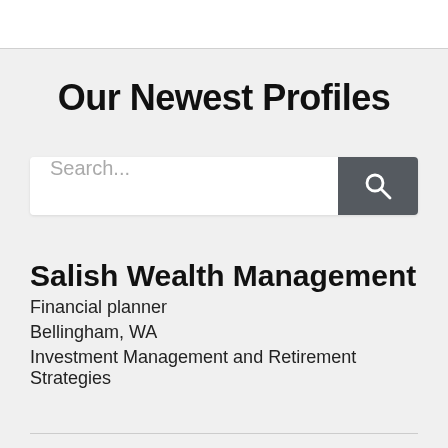Our Newest Profiles
[Figure (other): Search bar with text input field showing placeholder 'Search...' and a dark gray search button with magnifying glass icon]
Salish Wealth Management
Financial planner
Bellingham, WA
Investment Management and Retirement Strategies